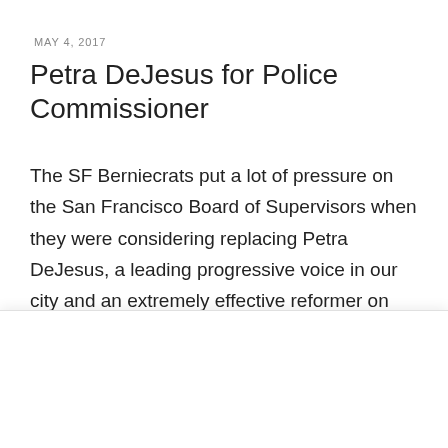MAY 4, 2017
Petra DeJesus for Police Commissioner
The SF Berniecrats put a lot of pressure on the San Francisco Board of Supervisors when they were considering replacing Petra DeJesus, a leading progressive voice in our city and an extremely effective reformer on the commission. We successfully managed to
Cookie Consent
For analytics purposes, we use technologies like cookies to store and/or access device information. Consenting to these technologies will allow us to process data such as browsing behavior or unique IDs on this site.
Accept
Cookie Policy